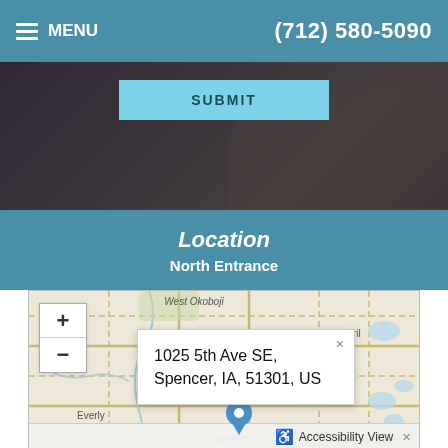MENU   (712) 580-5090
[Figure (photo): Hero image showing a medical/wellness scene partially visible behind a dark overlay with a teal SUBMIT button]
Location
North Entrance
[Figure (map): Interactive map centered on Spencer, Iowa showing a location popup with address: 1025 5th Ave SE, Spencer, IA, 51301, US. Map shows surrounding towns including West Okoboji, Milford, Terril, Everly, and Ruthven with zoom controls (+/-) and an accessibility view bar at the bottom.]